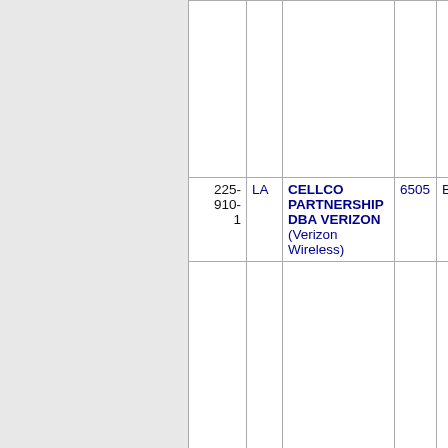| Phone | State | Company | ZIP | City |
| --- | --- | --- | --- | --- |
| 225-910-1 | LA | CELLCO PARTNERSHIP DBA VERIZON (Verizon Wireless) | 6505 | BATON... |
| 225-910-2 | LA | CELLCO PARTNERSHIP DBA VERIZON... | 6505 | BATON... |